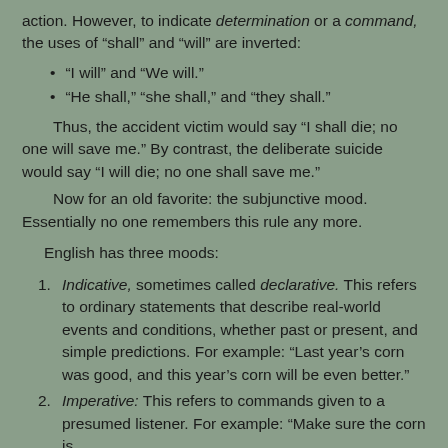action. However, to indicate determination or a command, the uses of "shall" and "will" are inverted:
“I will” and “We will.”
“He shall,” “she shall,” and “they shall.”
Thus, the accident victim would say “I shall die; no one will save me.” By contrast, the deliberate suicide would say “I will die; no one shall save me.”
Now for an old favorite: the subjunctive mood. Essentially no one remembers this rule any more.
English has three moods:
Indicative, sometimes called declarative. This refers to ordinary statements that describe real-world events and conditions, whether past or present, and simple predictions. For example: “Last year’s corn was good, and this year’s corn will be even better.”
Imperative: This refers to commands given to a presumed listener. For example: “Make sure the corn is good.” (It goes on to say if the corn is not good...)